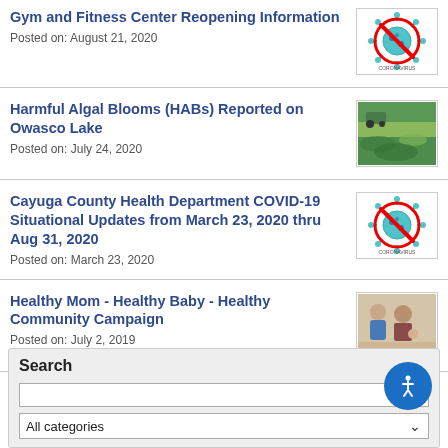Gym and Fitness Center Reopening Information
Posted on: August 21, 2020
Harmful Algal Blooms (HABs) Reported on Owasco Lake
Posted on: July 24, 2020
Cayuga County Health Department COVID-19 Situational Updates from March 23, 2020 thru Aug 31, 2020
Posted on: March 23, 2020
Healthy Mom - Healthy Baby - Healthy Community Campaign
Posted on: July 2, 2019
Search
All categories